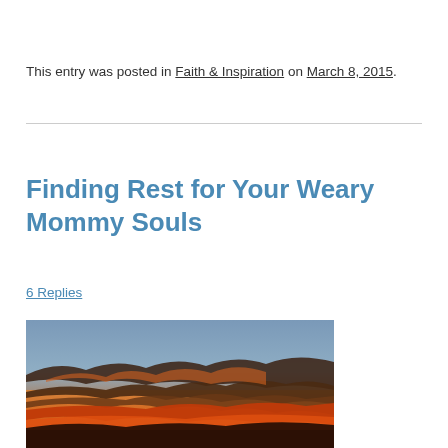This entry was posted in Faith & Inspiration on March 8, 2015.
Finding Rest for Your Weary Mommy Souls
6 Replies
[Figure (photo): A sunset photograph showing dramatic orange and golden clouds against a blue-gray sky.]